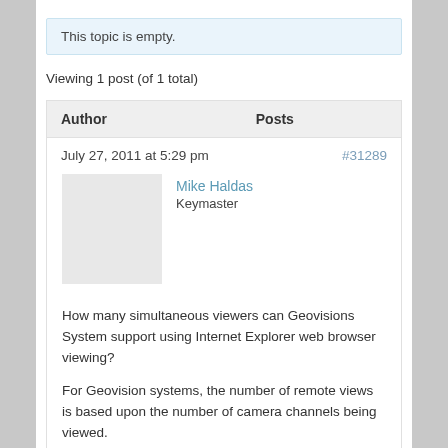This topic is empty.
Viewing 1 post (of 1 total)
| Author | Posts |
| --- | --- |
| July 27, 2011 at 5:29 pm | #31289 |
| Mike Haldas
Keymaster |  |
| How many simultaneous viewers can Geovisions System support using Internet Explorer web browser viewing?

For Geovision systems, the number of remote views is based upon the number of camera channels being viewed.

The GeoVision DVR will allow up to 200 connections. Each camera being viewed is a single connection. (eg if 1 user is connecting to 4 cameras, than this will count as 4 connections.) You can create up to 1000 users all with |  |